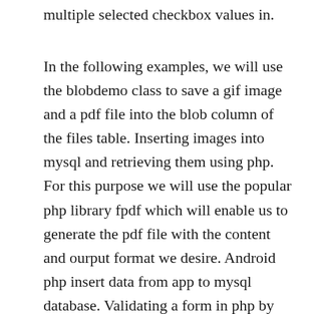multiple selected checkbox values in.
In the following examples, we will use the blobdemo class to save a gif image and a pdf file into the blob column of the files table. Inserting images into mysql and retrieving them using php. For this purpose we will use the popular php library fpdf which will enable us to generate the pdf file with the content and ourput format we desire. Android php insert data from app to mysql database. Validating a form in php by using a mysql database php. How to upload only pdf file in php php tutorial php. Alternatively, to store